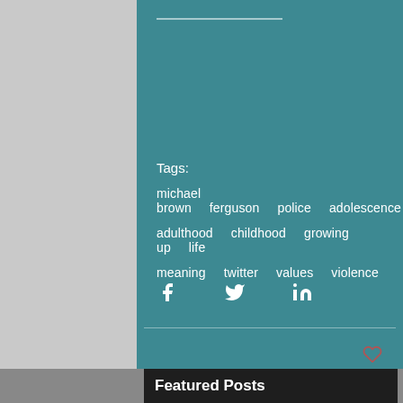Tags:
michael brown   ferguson   police   adolescence
adulthood   childhood   growing up   life
meaning   twitter   values   violence
[Figure (infographic): Social share icons: Facebook, Twitter, LinkedIn]
[Figure (infographic): Heart/like icon]
Featured Posts